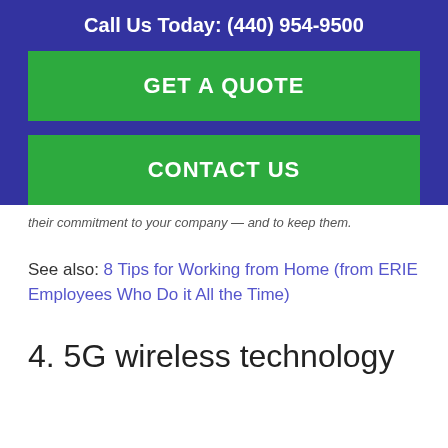Call Us Today: (440) 954-9500
GET A QUOTE
CONTACT US
their commitment to your company — and to keep them.
See also: 8 Tips for Working from Home (from ERIE Employees Who Do it All the Time)
4. 5G wireless technology